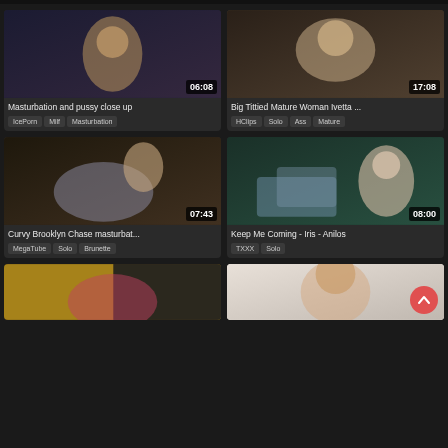[Figure (screenshot): Video thumbnail grid showing adult video content with titles, tags, and duration overlays]
Masturbation and pussy close up
IcePorn | Milf | Masturbation
Big Tittied Mature Woman Ivetta ...
HClips | Solo | Ass | Mature
Curvy Brooklyn Chase masturbat...
MegaTube | Solo | Brunette
Keep Me Coming - Iris - Anilos
TXXX | Solo